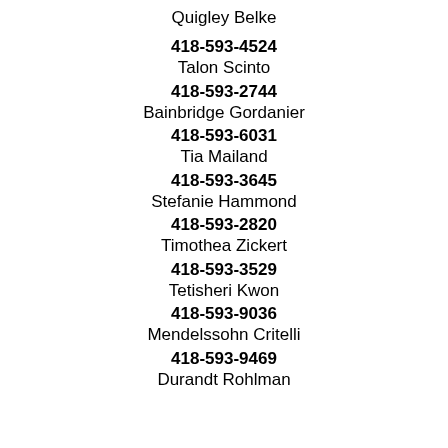Quigley Belke
418-593-4524
Talon Scinto
418-593-2744
Bainbridge Gordanier
418-593-6031
Tia Mailand
418-593-3645
Stefanie Hammond
418-593-2820
Timothea Zickert
418-593-3529
Tetisheri Kwon
418-593-9036
Mendelssohn Critelli
418-593-9469
Durandt Rohlman